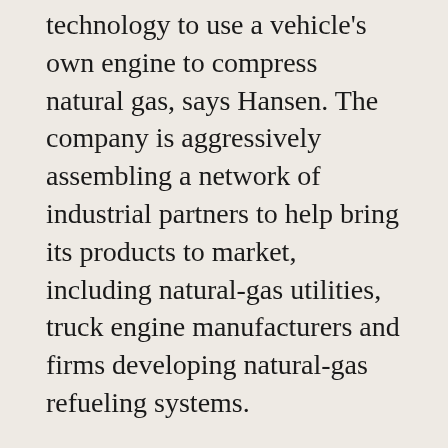technology to use a vehicle's own engine to compress natural gas, says Hansen. The company is aggressively assembling a network of industrial partners to help bring its products to market, including natural-gas utilities, truck engine manufacturers and firms developing natural-gas refueling systems.
Onboard Dynamics sees fleet operators as the most promising first customers and is partnering with the Deschutes County Road Department to test a Ford F-250 truck equipped with a compressed-natural-gas (CNG) engine. The company expects its first commercial products to be available in mid-2016.
The Advantage Accelerator/RAIN Corvallis has been instrumental in moving Onboard Dynamics from concept to commercialization. The company has received financial support from the U.S. Department of Energy's Advanced